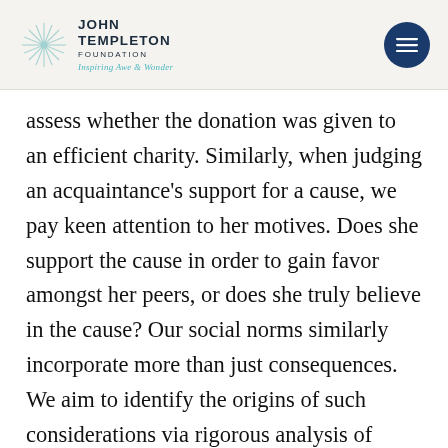JOHN TEMPLETON FOUNDATION — Inspiring Awe & Wonder
assess whether the donation was given to an efficient charity. Similarly, when judging an acquaintance's support for a cause, we pay keen attention to her motives. Does she support the cause in order to gain favor amongst her peers, or does she truly believe in the cause? Our social norms similarly incorporate more than just consequences. We aim to identify the origins of such considerations via rigorous analysis of mathematical models of evolutionary games. We will investigate the following questions: why is